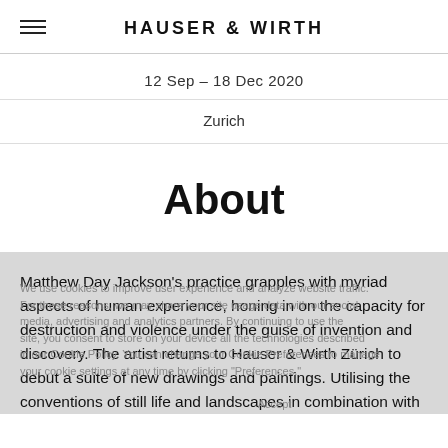HAUSER & WIRTH
12 Sep – 18 Dec 2020
Zurich
About
Matthew Day Jackson's practice grapples with myriad aspects of human experience, honing in on the capacity for destruction and violence under the guise of invention and discovery. The artist returns to Hauser & Wirth Zürich to debut a suite of new drawings and paintings. Utilising the conventions of still life and landscapes in combination with